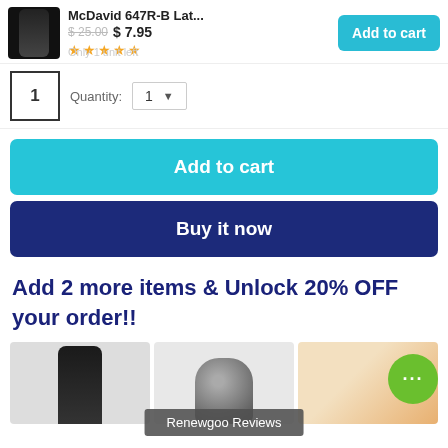McDavid 647R-B Lat...  $25.00  $7.95  Only 1 unit left
Quantity: 1
Add to cart
Buy it now
Add 2 more items & Unlock 20% OFF your order!!
[Figure (screenshot): Product thumbnails at bottom: knee brace, shower head, food chopper]
Renewgoo Reviews